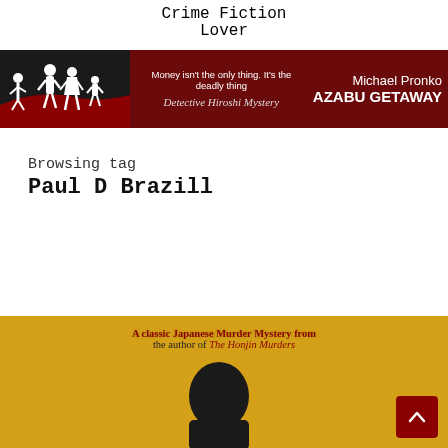Crime Fiction Lover
[Figure (illustration): Advertising banner for 'Azabu Getaway' by Michael Pronko, a Detective Hiroshi Mystery. Dark red background with black silhouettes of people on the left, tagline 'Money isn't the only thing. It's the deadly thing', series name 'Detective Hiroshi Mystery', author name 'Michael Pronko', and book title 'AZABU GETAWAY' on the right.]
Browsing tag
Paul D Brazill
[Figure (illustration): Partial book cover with golden/yellow background showing text 'A classic Japanese Murder Mystery from the author of The Honjin Murders' and a dark silhouette of a head. A red scroll-to-top button is visible in the bottom right corner.]